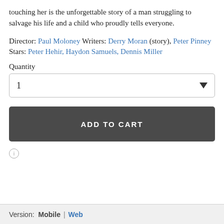touching her is the unforgettable story of a man struggling to salvage his life and a child who proudly tells everyone.
Director: Paul Moloney Writers: Derry Moran (story), Peter Pinney Stars: Peter Hehir, Haydon Samuels, Dennis Miller
Quantity
[Figure (other): Quantity selector dropdown showing value 1 with a dropdown arrow]
[Figure (other): Add to Cart button, dark gray background with white bold uppercase text ADD TO CART]
[Figure (other): Small circular info icon]
Version: Mobile | Web